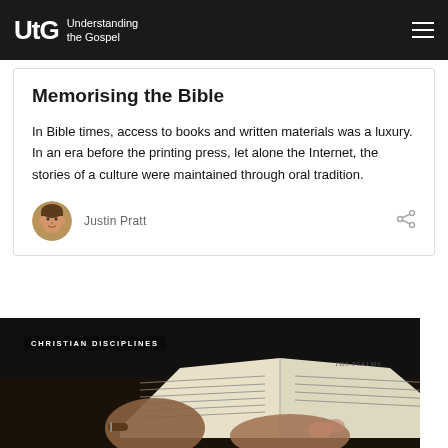UtG Understanding the Gospel
Memorising the Bible
In Bible times, access to books and written materials was a luxury. In an era before the printing press, let alone the Internet, the stories of a culture were maintained through oral tradition.
Justin Pratt
[Figure (photo): Dark photo of hands holding open a Bible/book, with text visible on the pages. Overlaid category label reads CHRISTIAN DISCIPLINES.]